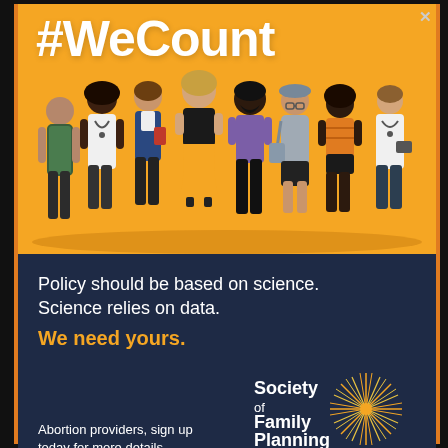#WeCount
[Figure (illustration): Group of diverse illustrated people including doctors, medical professionals, and community members standing together on an orange background]
Policy should be based on science.
Science relies on data.
We need yours.
Abortion providers, sign up today for more details.
[Figure (logo): Society of Family Planning logo with starburst/sunburst graphic in orange and yellow]